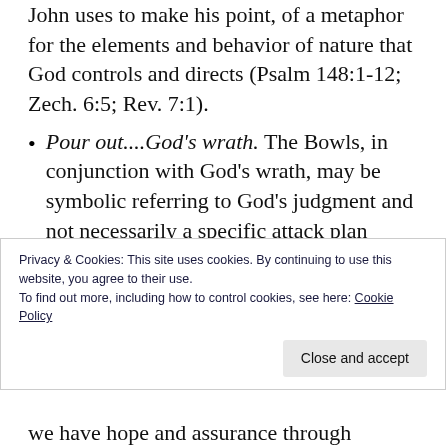John uses to make his point, of a metaphor for the elements and behavior of nature that God controls and directs (Psalm 148:1-12; Zech. 6:5; Rev. 7:1).
Pour out....God's wrath. The Bowls, in conjunction with God's wrath, may be symbolic referring to God's judgment and not necessarily a specific attack plan although God can do as He pleases so this could be literal. This theme is used heavily in Jeremiah and Ezekiel. Far more important than the specifics or theories of
Privacy & Cookies: This site uses cookies. By continuing to use this website, you agree to their use.
To find out more, including how to control cookies, see here: Cookie Policy
we have hope and assurance through